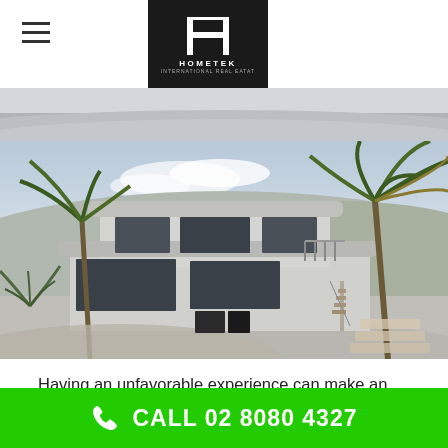[Figure (logo): Hometek logo — white H letterform on black background with company name below]
[Figure (photo): Partial aerial/exterior view of a modern building — top strip]
[Figure (photo): Architectural rendering of a modern two-storey white flat-roof house with large windows, palm trees, and desert landscape]
Having an unfavorable experience can make an individual mindful of dealing with a brand-new
CALL 02 8080 4327